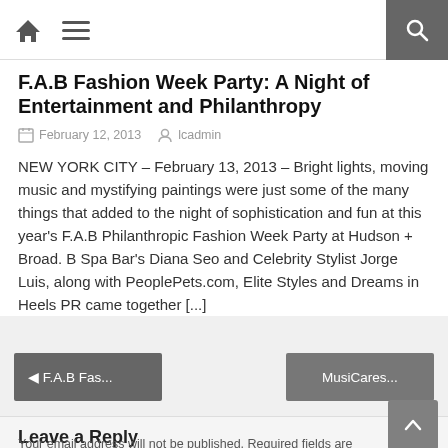Home Menu Search
F.A.B Fashion Week Party: A Night of Entertainment and Philanthropy
February 12, 2013   lcadmin
NEW YORK CITY – February 13, 2013 – Bright lights, moving music and mystifying paintings were just some of the many things that added to the night of sophistication and fun at this year's F.A.B Philanthropic Fashion Week Party at Hudson + Broad. B Spa Bar's Diana Seo and Celebrity Stylist Jorge Luis, along with PeoplePets.com, Elite Styles and Dreams in Heels PR came together [...]
◄ F.A.B Fas...
MusiCares...
Leave a Reply
Your email address will not be published. Required fields are